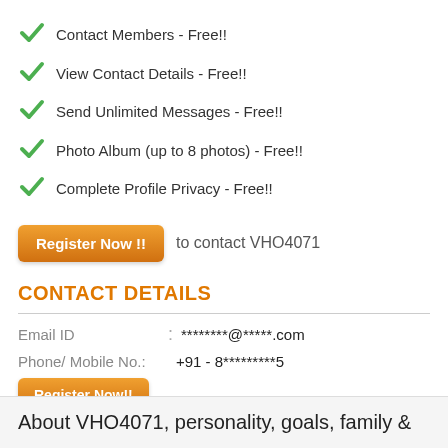Contact Members - Free!!
View Contact Details - Free!!
Send Unlimited Messages - Free!!
Photo Album (up to 8 photos) - Free!!
Complete Profile Privacy - Free!!
Register Now !! to contact VHO4071
CONTACT DETAILS
| Field |  | Value |
| --- | --- | --- |
| Email ID | : | ********@*****.com |
| Phone/ Mobile No.: |  | +91 - 8*********5 |
Register Now!! To View Mobile No/ Email ID & send a Message.
About VHO4071, personality, goals, family &